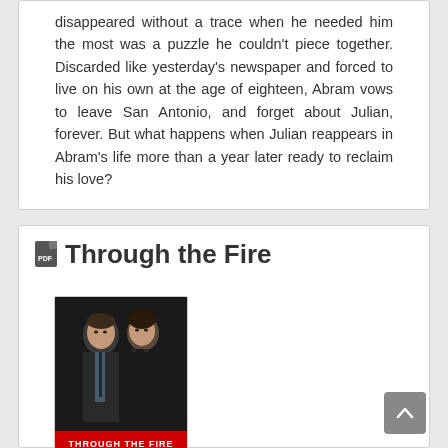disappeared without a trace when he needed him the most was a puzzle he couldn't piece together. Discarded like yesterday's newspaper and forced to live on his own at the age of eighteen, Abram vows to leave San Antonio, and forget about Julian, forever. But what happens when Julian reappears in Abram's life more than a year later ready to reclaim his love?
Through the Fire
[Figure (photo): Book cover for 'Through the Fire' showing a man in a dark suit and a woman in a black dress facing each other closely in a romantic pose, with red text at the bottom reading 'THROUGH THE FIRE']